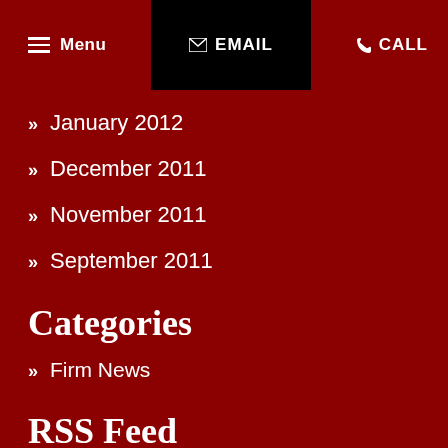Menu | EMAIL | CALL
January 2012
December 2011
November 2011
September 2011
Categories
Firm News
RSS Feed